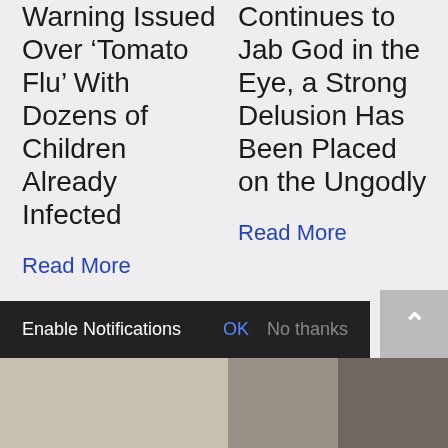Warning Issued Over ‘Tomato Flu’ With Dozens of Children Already Infected
Read More
Continues to Jab God in the Eye, a Strong Delusion Has Been Placed on the Ungodly
Read More
Enable Notifications OK No thanks